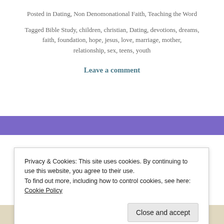Posted in Dating, Non Denomonational Faith, Teaching the Word
Tagged Bible Study, children, christian, Dating, devotions, dreams, faith, foundation, hope, jesus, love, marriage, mother, relationship, sex, teens, youth
Leave a comment
Privacy & Cookies: This site uses cookies. By continuing to use this website, you agree to their use. To find out more, including how to control cookies, see here: Cookie Policy
Close and accept
you really?